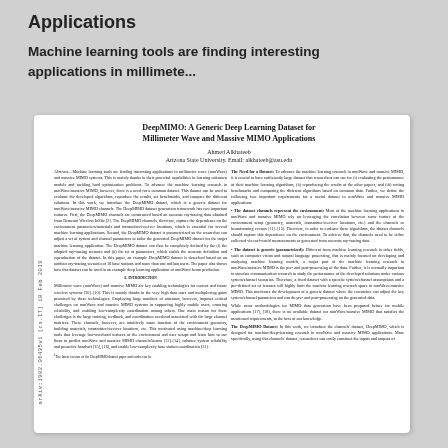Applications
Machine learning tools are finding interesting applications in millimete...
[Figure (screenshot): Screenshot of an academic paper: 'DeepMIMO: A Generic Deep Learning Dataset for Millimeter Wave and Massive MIMO Applications' by Ahmed Alkhateeb, Arizona State University. The paper includes an abstract, introduction, and body text in two-column format. An arXiv identifier is shown on the left margin: arXiv:1902.06435v1 [cs.IT] 18 Feb 2019.]